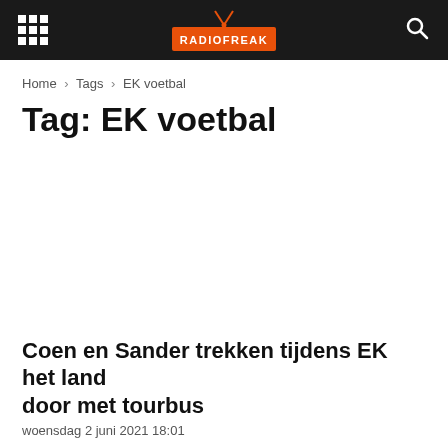RADIOFREAK
Home › Tags › EK voetbal
Tag: EK voetbal
Coen en Sander trekken tijdens EK het land door met tourbus
woensdag 2 juni 2021 18:01